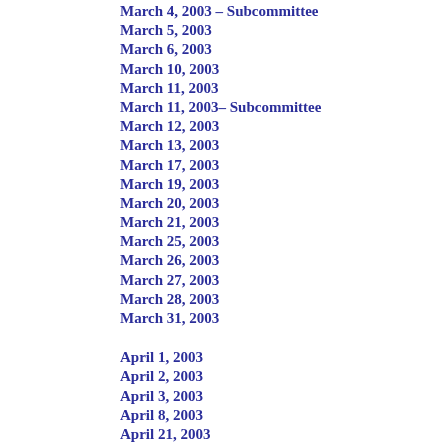March 4, 2003 – Subcommittee
March 5, 2003
March 6, 2003
March 10, 2003
March 11, 2003
March 11, 2003– Subcommittee
March 12, 2003
March 13, 2003
March 17, 2003
March 19, 2003
March 20, 2003
March 21, 2003
March 25, 2003
March 26, 2003
March 27, 2003
March 28, 2003
March 31, 2003
April 1, 2003
April 2, 2003
April 3, 2003
April 8, 2003
April 21, 2003